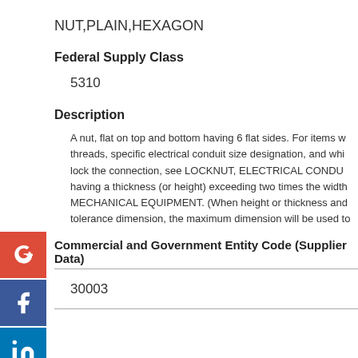NUT,PLAIN,HEXAGON
Federal Supply Class
5310
Description
A nut, flat on top and bottom having 6 flat sides. For items with threads, specific electrical conduit size designation, and which lock the connection, see LOCKNUT, ELECTRICAL CONDUIT. For items having a thickness (or height) exceeding two times the width, see MECHANICAL EQUIPMENT. (When height or thickness and design tolerance dimension, the maximum dimension will be used to...
Commercial and Government Entity Code (Supplier Data)
30003